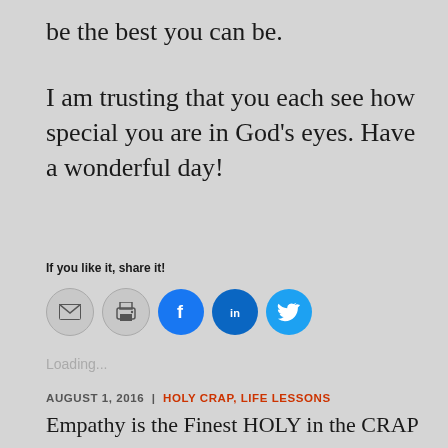be the best you can be.
I am trusting that you each see how special you are in God’s eyes. Have a wonderful day!
If you like it, share it!
[Figure (infographic): Social share buttons: email (gray circle), print (gray circle), Facebook (blue circle), LinkedIn (dark blue circle), Twitter (light blue circle)]
Loading...
AUGUST 1, 2016  |  HOLY CRAP, LIFE LESSONS
Empathy is the Finest HOLY in the CRAP